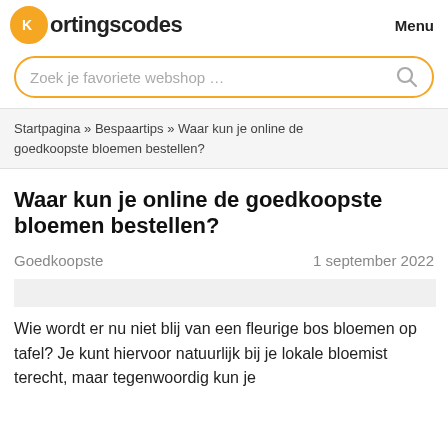Kortingscodes Menu
Zoek je favoriete webshop …
Startpagina » Bespaartips » Waar kun je online de goedkoopste bloemen bestellen?
Waar kun je online de goedkoopste bloemen bestellen?
Goedkoopste   1 september 2022
Wie wordt er nu niet blij van een fleurige bos bloemen op tafel? Je kunt hiervoor natuurlijk bij je lokale bloemist terecht, maar tegenwoordig kun je